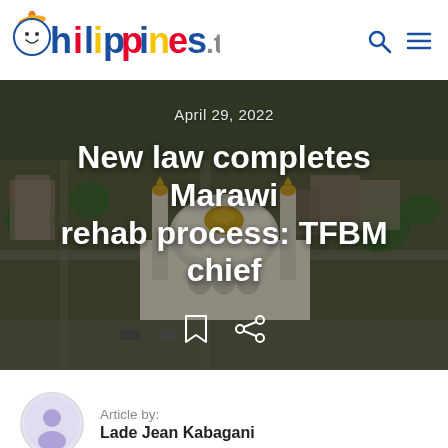Philippines.tv [logo] with search and menu icons
[Figure (photo): Aerial view of Marawi city showing a large mosque with golden domes surrounded by damaged and partially rebuilt buildings and greenery. The image serves as the hero background for the article.]
April 29, 2022
New law completes Marawi rehab process: TFBM chief
Article by: Lade Jean Kabagani